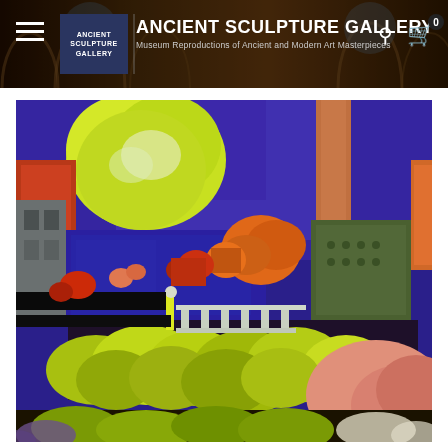ANCIENT SCULPTURE GALLERY — Museum Reproductions of Ancient and Modern Art Masterpieces
[Figure (photo): A colorful expressionist/Fauvist painting featuring bold blocks of vivid blue, yellow-green, orange, red, and muted tones depicting an urban or architectural scene with buildings, trees, and foliage in a heavily textured, painterly style reminiscent of Kandinsky or Vlaminck.]